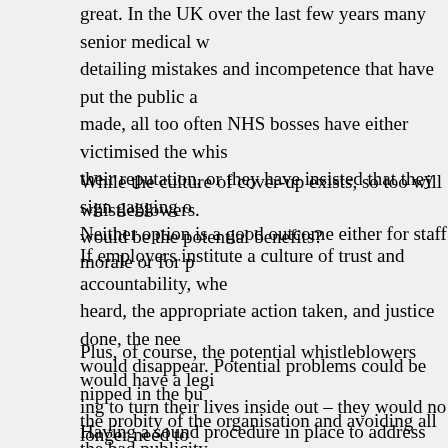great. In the UK over the last few years many senior medical w detailing mistakes and incompetence that have put the public a made, all too often NHS bosses have either victimised the whis their reputation, or they have insisted that they sign gagging o Neither option is a good outcome either for staff morale or for p
While the culture of cover-up exists, so too will whistleblowers. would be the potential benefits?
If employers institute a culture of trust and accountability, whe heard, the appropriate action taken, and justice done, the nee would disappear. Potential problems could be nipped in the bu the probity of the organisation and avoiding all the bad publicity
Plus, of course, the potential whistleblowers would have a legi ing to turn their lives inside out – they would no longer need to all that goes with it such as career, income, social standing and
Having a sound procedure in place to address staff concerns s efficiency and morale, the organisation's operational capability public, too.